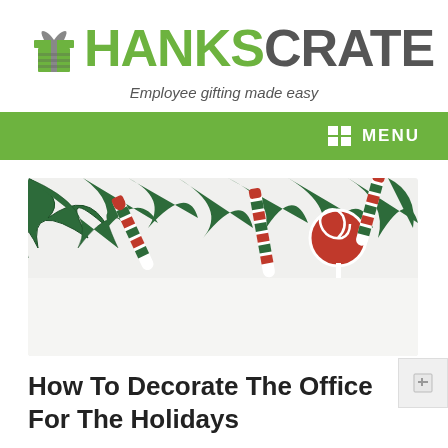THANKSCRATE
Employee gifting made easy
MENU
[Figure (photo): Christmas ornaments including candy canes and a lollipop hanging from pine tree branches against a white background]
How To Decorate The Office For The Holidays